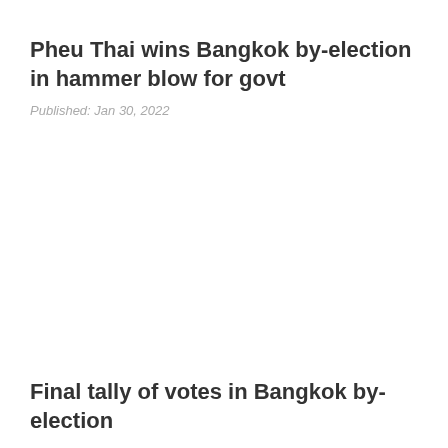Pheu Thai wins Bangkok by-election in hammer blow for govt
Published: Jan 30, 2022
Final tally of votes in Bangkok by-election
Published: Jan 30, 2022